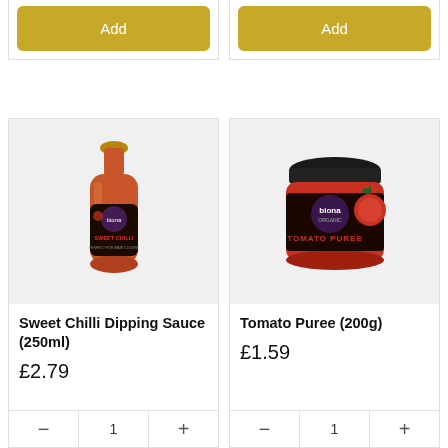[Figure (screenshot): Add button (yellow/gold) for first product at top of page]
[Figure (screenshot): Add button (yellow/gold) for second product at top of page]
[Figure (photo): Biona organic Sweet Chilli Dipping Sauce 250ml bottle with red sauce visible]
[Figure (photo): Biona organic Tomato Puree 200g jar with dark label and tomato imagery]
Sweet Chilli Dipping Sauce (250ml)
£2.79
Tomato Puree (200g)
£1.59